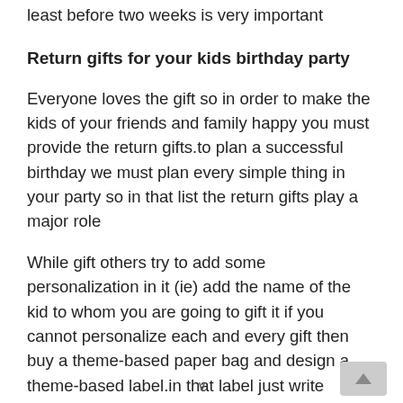least before two weeks is very important
Return gifts for your kids birthday party
Everyone loves the gift so in order to make the kids of your friends and family happy you must provide the return gifts.to plan a successful birthday we must plan every simple thing in your party so in that list the return gifts play a major role
While gift others try to add some personalization in it (ie) add the name of the kid to whom you are going to gift it if you cannot personalize each and every gift then buy a theme-based paper bag and design a theme-based label.in that label just write